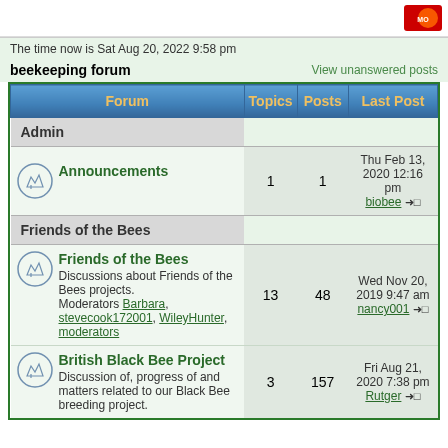The time now is Sat Aug 20, 2022 9:58 pm
beekeeping forum
View unanswered posts
| Forum | Topics | Posts | Last Post |
| --- | --- | --- | --- |
| Admin |  |  |  |
| Announcements | 1 | 1 | Thu Feb 13, 2020 12:16 pm biobee |
| Friends of the Bees |  |  |  |
| Friends of the Bees — Discussions about Friends of the Bees projects. Moderators Barbara, stevecook172001, WileyHunter, moderators | 13 | 48 | Wed Nov 20, 2019 9:47 am nancy001 |
| British Black Bee Project — Discussion of, progress of and matters related to our Black Bee breeding project. | 3 | 157 | Fri Aug 21, 2020 7:38 pm Rutger |